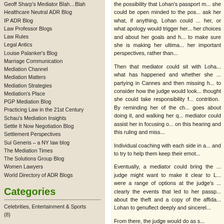Geoff Sharp's Mediator Blah…Blah
Healthcare Neutral ADR Blog
IP ADR Blog
Law Professor Blogs
Law Rules
Legal Antics
Louise Palanker's Blog
Marriage Communication
Mediation Channel
Mediation Matters
Mediation Strategies
Mediation's Place
PGP Mediation Blog
Practicing Law in the 21st Century
Schau's Mediation Insights
Settle It Now Negotiation Blog
Settlement Perspectives
Sui Generis – a NY law blog
The Mediation Times
The Solutions Group Blog
Women Lawyers
World Directory of ADR Blogs
Categories
Celebrities, Entertainment & Sports (8)
the possibility that Lohan's passport might... she could be open minded to the pos... ask her what, if anything, Lohan could ... her, or what apology would trigger her... her choices and about her goals and h... to make sure she is making her ultima... her important perspectives, rather than...
Then that mediator could sit with Loha... what has happened and whether she ... partying in Cannes and then missing h... to consider how the judge would look... thought she could take responsibility f... contrition. By reminding her of the ch... goes about doing it, and walking her q... mediator could assist her in focusing o... on this hearing and this ruling and miss...
Individual coaching with each side in a... and to try to help them keep their emot...
Eventually, a mediator could bring the ... judge might want to make it clear to L... were a range of options at the judge's ... clearly the events that led to her passp... about the theft and a copy of the affida... Lohan to genuflect deeply and sincerel...
From there, the judge would do as s...